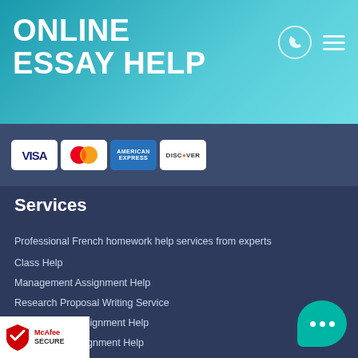ONLINE ESSAY HELP
[Figure (infographic): Payment card logos: VISA, Mastercard, American Express, Discover]
Services
Professional French homework help services from experts
Class Help
Management Assignment Help
Research Proposal Writing Service
Mathematics Assignment Help
Geographic Assignment Help
...ematics Assignment Help
...ignment Writing Help
[Figure (logo): McAfee SECURE badge]
[Figure (illustration): Teal chat bubble with three dots]